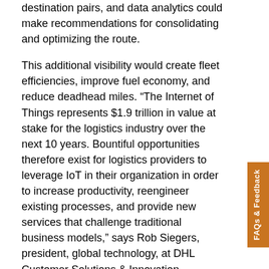destination pairs, and data analytics could make recommendations for consolidating and optimizing the route.
This additional visibility would create fleet efficiencies, improve fuel economy, and reduce deadhead miles. “The Internet of Things represents $1.9 trillion in value at stake for the logistics industry over the next 10 years. Bountiful opportunities therefore exist for logistics providers to leverage IoT in their organizations in order to increase productivity, reengineer existing processes, and provide new services that challenge traditional business models,” says Rob Siegers, president, global technology, at DHL Customer Solutions & Innovation.
IoT can be further expanded into AI to ensure that trucks meet the revenue demands while still staying in compliance with federal regulations on rest for drivers